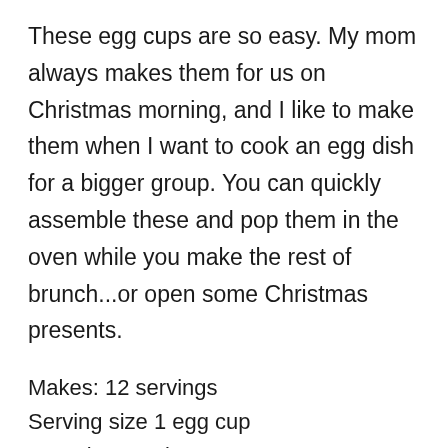These egg cups are so easy. My mom always makes them for us on Christmas morning, and I like to make them when I want to cook an egg dish for a bigger group. You can quickly assemble these and pop them in the oven while you make the rest of brunch...or open some Christmas presents.
Makes: 12 servings
Serving size 1 egg cup
Prep time 5 minutes
Cook time 15–20 minutes
INGREDIENTS